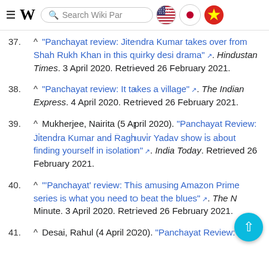Wikipedia search bar with language flag icons (US, Japan, Vietnam)
37. ^ "Panchayat review: Jitendra Kumar takes over from Shah Rukh Khan in this quirky desi drama". Hindustan Times. 3 April 2020. Retrieved 26 February 2021.
38. ^ "Panchayat review: It takes a village". The Indian Express. 4 April 2020. Retrieved 26 February 2021.
39. ^ Mukherjee, Nairita (5 April 2020). "Panchayat Review: Jitendra Kumar and Raghuvir Yadav show is about finding yourself in isolation". India Today. Retrieved 26 February 2021.
40. ^ "'Panchayat' review: This amusing Amazon Prime series is what you need to beat the blues". The New Minute. 3 April 2020. Retrieved 26 February 2021.
41. ^ Desai, Rahul (4 April 2020). "Panchayat Review: A...